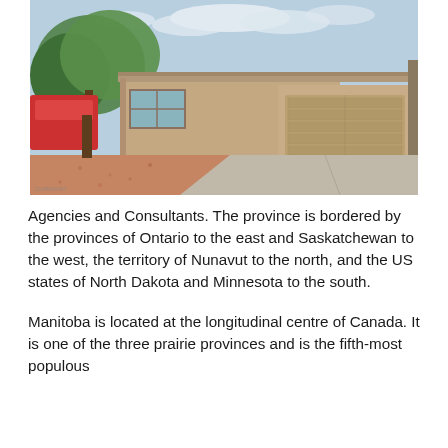[Figure (photo): Exterior photo of a single-story residential house with tan/beige stucco walls, a large garage door, a concrete driveway, gravel front yard landscaping, and trees in the background under a partly cloudy sky.]
Agencies and Consultants. The province is bordered by the provinces of Ontario to the east and Saskatchewan to the west, the territory of Nunavut to the north, and the US states of North Dakota and Minnesota to the south.
Manitoba is located at the longitudinal centre of Canada. It is one of the three prairie provinces and is the fifth-most populous